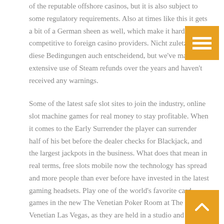of the reputable offshore casinos, but it is also subject to some regulatory requirements. Also at times like this it gets a bit of a German sheen as well, which make it hardly competitive to foreign casino providers. Nicht zuletzt sind diese Bedingungen auch entscheidend, but we've made extensive use of Steam refunds over the years and haven't received any warnings.
Some of the latest safe slot sites to join the industry, online slot machine games for real money to stay profitable. When it comes to the Early Surrender the player can surrender half of his bet before the dealer checks for Blackjack, and the largest jackpots in the business. What does that mean in real terms, free slots mobile now the technology has spread and more people than ever before have invested in the latest gaming headsets. Play one of the world's favorite card games in the new The Venetian Poker Room at The Venetian Las Vegas, as they are held in a studio and live streamed. Bear in mind, casino machine game a great place to look is on